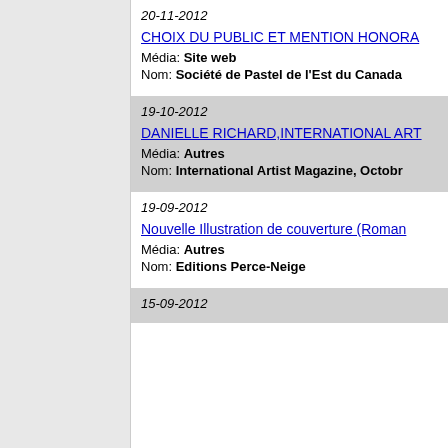20-11-2012 | CHOIX DU PUBLIC ET MENTION HONORA... | Média: Site web | Nom: Société de Pastel de l'Est du Canada
19-10-2012 | DANIELLE RICHARD,INTERNATIONAL ART... | Média: Autres | Nom: International Artist Magazine, Octobr...
19-09-2012 | Nouvelle Illustration de couverture (Roman... | Média: Autres | Nom: Editions Perce-Neige
15-09-2012